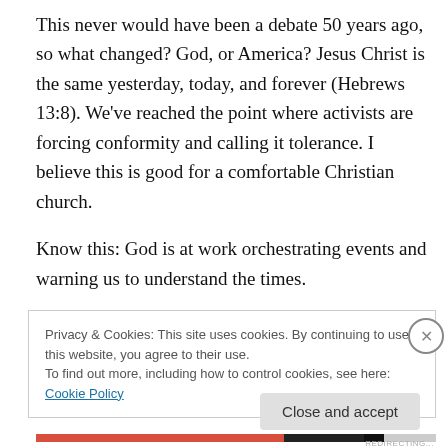This never would have been a debate 50 years ago, so what changed? God, or America? Jesus Christ is the same yesterday, today, and forever (Hebrews 13:8). We've reached the point where activists are forcing conformity and calling it tolerance. I believe this is good for a comfortable Christian church.

Know this: God is at work orchestrating events and warning us to understand the times.

The problem has been diagnosed. The moral decline in
Privacy & Cookies: This site uses cookies. By continuing to use this website, you agree to their use.
To find out more, including how to control cookies, see here: Cookie Policy
Close and accept